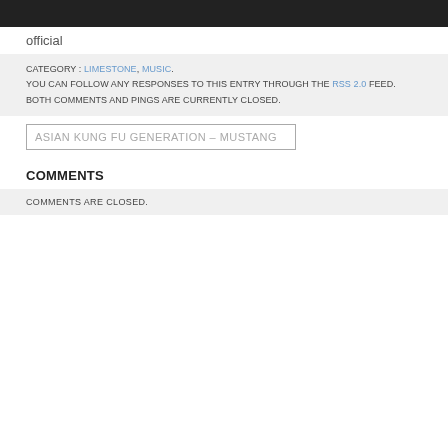official
CATEGORY : LIMESTONE, MUSIC. YOU CAN FOLLOW ANY RESPONSES TO THIS ENTRY THROUGH THE RSS 2.0 FEED. BOTH COMMENTS AND PINGS ARE CURRENTLY CLOSED.
ASIAN KUNG FU GENERATION – MUSTANG
COMMENTS
COMMENTS ARE CLOSED.